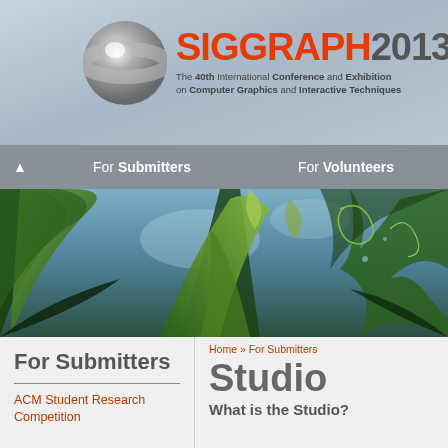[Figure (logo): SIGGRAPH 2013 logo with metallic sphere and orange/grey text]
SIGGRAPH2013 — The 40th International Conference and Exhibition on Computer Graphics and Interactive Techniques
For Submitters | For Volunteers
[Figure (photo): Rendered 3D scene with tropical plants and foliage viewed from below]
Home » For Submitters
For Submitters
ACM Student Research Competition
Studio
What is the Studio?